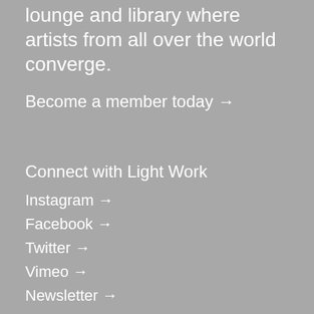lounge and library where artists from all over the world converge.
Become a member today →
Connect with Light Work
Instagram →
Facebook →
Twitter →
Vimeo →
Newsletter →